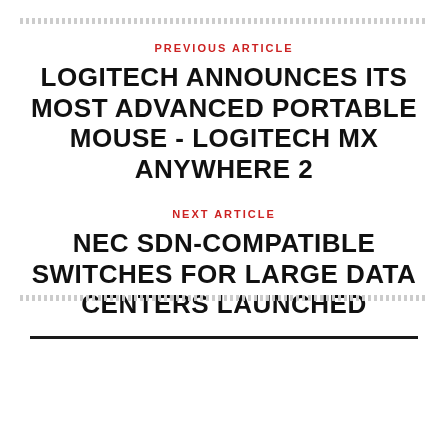PREVIOUS ARTICLE
LOGITECH ANNOUNCES ITS MOST ADVANCED PORTABLE MOUSE - LOGITECH MX ANYWHERE 2
NEXT ARTICLE
NEC SDN-COMPATIBLE SWITCHES FOR LARGE DATA CENTERS LAUNCHED